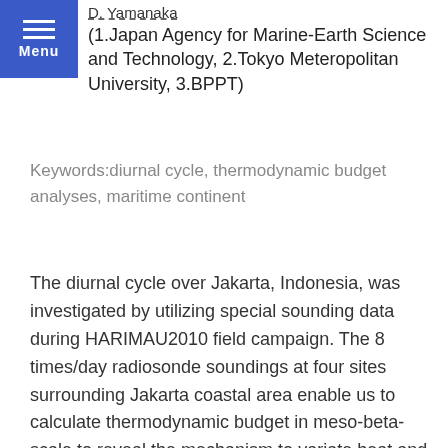D. Yamanaka
(1.Japan Agency for Marine-Earth Science and Technology, 2.Tokyo Meteropolitan University, 3.BPPT)
Keywords:diurnal cycle, thermodynamic budget analyses, maritime continent
The diurnal cycle over Jakarta, Indonesia, was investigated by utilizing special sounding data during HARIMAU2010 field campaign. The 8 times/day radiosonde soundings at four sites surrounding Jakarta coastal area enable us to calculate thermodynamic budget in meso-beta-scale to reveal the mechanism to variate heat and moisture, with the precipitation morphology obtained by a C-band radar. The obtained diurnal cycle basically resembles that in the previous studies; morning heating of the